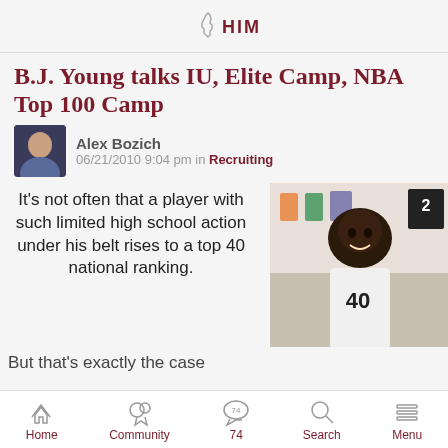Indiana HIM logo/header
B.J. Young talks IU, Elite Camp, NBA Top 100 Camp
Alex Bozich
06/21/2010 9:04 pm in Recruiting
[Figure (photo): Author avatar photo of Alex Bozich]
It's not often that a player with such limited high school action under his belt rises to a top 40 national ranking.
[Figure (photo): Photo of B.J. Young basketball player in gym setting]
But that's exactly the case
Home  Community  74  Search  Menu